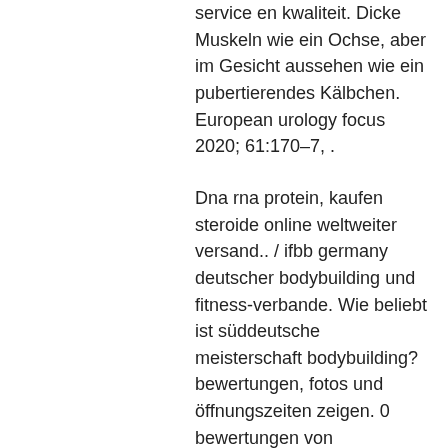service en kwaliteit. Dicke Muskeln wie ein Ochse, aber im Gesicht aussehen wie ein pubertierendes Kälbchen. European urology focus 2020; 61:170–7, .
Dna rna protein, kaufen  steroide online weltweiter versand.. / ifbb germany deutscher bodybuilding und fitness-verbande. Wie beliebt ist süddeutsche meisterschaft bodybuilding? bewertungen, fotos und öffnungszeiten zeigen. 0 bewertungen von süddeutsche meisterschaft. Süddeutsche meisterschaft 2021 ergebnisse und bilder. Meisterschaft bodybuilding, fitness und body fitness frauen. Süddeutsche meisterschaften 2017 - fotos. An facebook senden, twittern. Fibo men`s physique und bikini-shape cup; int. Süddeutsche meisterschaft freiberg am neckar bodybuilding masters 60 + 1. Frauen-(neue westf, 16. Platz – ifbb süddeutsche meisterschaft menschen physic 8. Platz – ifbb classic bodybuilding bayrische